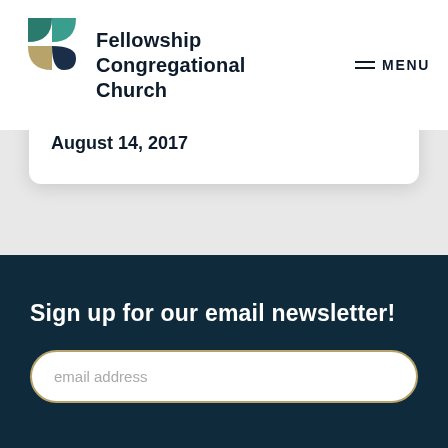Fellowship Congregational Church
Published on:
August 14, 2017
Sign up for our email newsletter!
email address